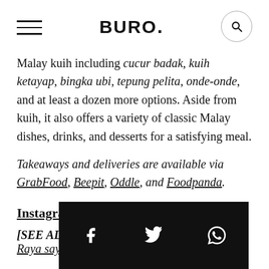BURO.
Malay kuih including cucur badak, kuih ketayap, bingka ubi, tepung pelita, onde-onde, and at least a dozen more options. Aside from kuih, it also offers a variety of classic Malay dishes, drinks, and desserts for a satisfying meal.
Takeaways and deliveries are available via GrabFood, Beepit, Oddle, and Foodpanda.
Instagram
[SEE ALSO: What does your favourite kuih Raya say about yo...